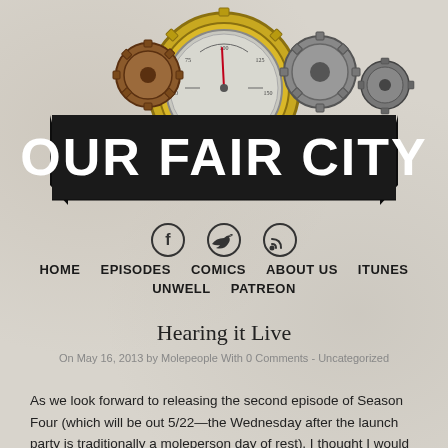[Figure (logo): Our Fair City podcast logo with steampunk gears and gauge illustration. Dark banner ribbon with bold white text 'OUR FAIR CITY' overlaid on mechanical/steampunk artwork with gold gear and pressure gauge.]
[Figure (infographic): Three circular social media icons in a row: Facebook (f), Twitter (bird), RSS (signal waves)]
HOME   EPISODES   COMICS   ABOUT US   ITUNES   UNWELL   PATREON
Hearing it Live
On May 16, 2013 by Molepeople With 0 Comments - Uncategorized
As we look forward to releasing the second episode of Season Four (which will be out 5/22—the Wednesday after the launch party is traditionally a moleperson day of rest), I thought I would share one